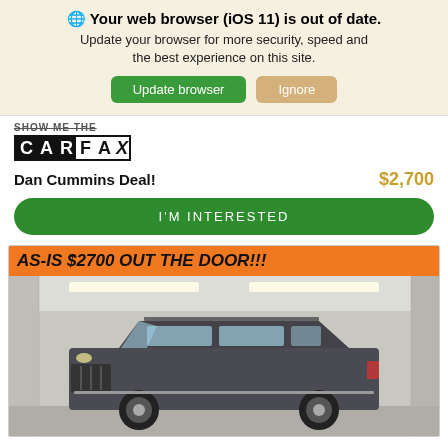🌐 Your web browser (iOS 11) is out of date. Update your browser for more security, speed and the best experience on this site.
Update browser | Ignore
[Figure (logo): CARFAX logo with 'SHOW ME THE' text above]
Dan Cummins Deal!
$2,700
I'M INTERESTED
[Figure (photo): Car dealership listing photo of a dark gray SUV (Isuzu Ascender) in a garage with an orange banner reading AS-IS $2700 OUT THE DOOR!!!]